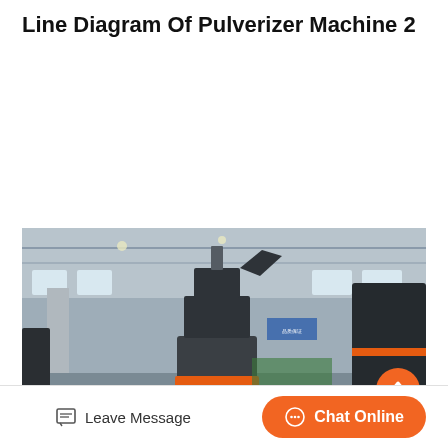Line Diagram Of Pulverizer Machine 2
[Figure (photo): Photograph of a large industrial pulverizer machine inside a factory/warehouse. The machine is dark grey/black with an orange ring accent near the base. A cylindrical body with a top discharge/separator hood is visible. The factory interior shows concrete pillars, roof trusses, and windows. Another large dark machine is partially visible on the right side.]
Leave Message   Chat Online